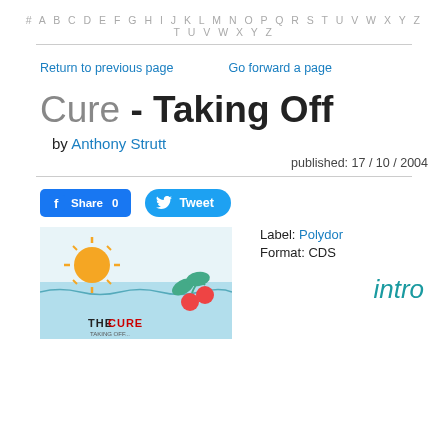# A B C D E F G H I J K L M N O P Q R S T U V W X Y Z
Return to previous page    Go forward a page
Cure - Taking Off
by Anthony Strutt
published: 17 / 10 / 2004
[Figure (other): Facebook Share button with count 0 and Twitter Tweet button]
Label: Polydor
Format: CDS
[Figure (illustration): Album cover for The Cure - Taking Off, showing a colorful illustrated scene with sun, sea, and cherries]
intro